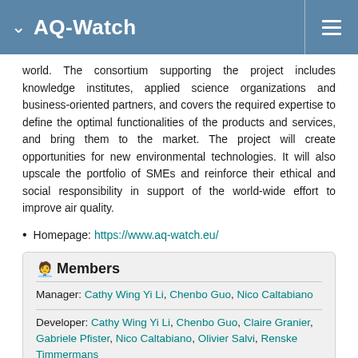AQ-Watch
world. The consortium supporting the project includes knowledge institutes, applied science organizations and business-oriented partners, and covers the required expertise to define the optimal functionalities of the products and services, and bring them to the market. The project will create opportunities for new environmental technologies. It will also upscale the portfolio of SMEs and reinforce their ethical and social responsibility in support of the world-wide effort to improve air quality.
Homepage: https://www.aq-watch.eu/
Members
Manager: Cathy Wing Yi Li, Chenbo Guo, Nico Caltabiano
Developer: Cathy Wing Yi Li, Chenbo Guo, Claire Granier, Gabriele Pfister, Nico Caltabiano, Olivier Salvi, Renske Timmermans
Reporter: Cathy Wing Yi Li, Chenbo Guo, Nico Caltabiano